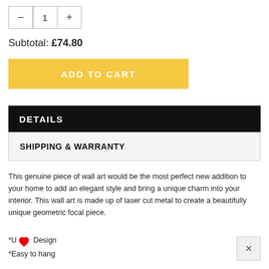— 1 +
Subtotal: £74.80
ADD TO CART
DETAILS
SHIPPING & WARRANTY
This genuine piece of wall art would be the most perfect new addition to your home to add an elegant style and bring a unique charm into your interior. This wall art is made up of laser cut metal to create a beautifully unique geometric focal piece.
*Unique Design
*Easy to hang